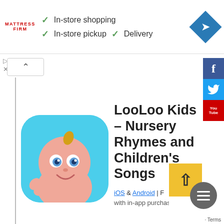[Figure (screenshot): Advertisement banner for Mattress Firm showing checkmarks for In-store shopping, In-store pickup, and Delivery, with a navigation diamond icon on the right]
[Figure (screenshot): LooLoo Kids app icon showing a 3D cartoon baby character on a teal background with rounded corners]
LooLoo Kids – Nursery Rhymes and Children's Songs
iOS & Android | with in-app purchases